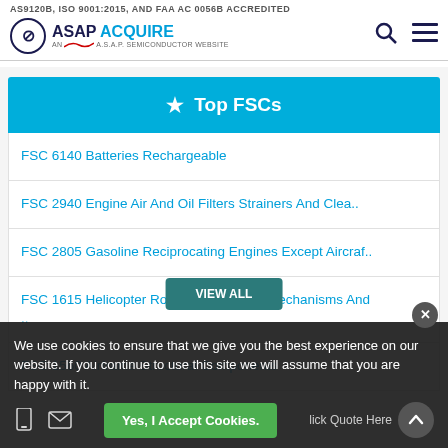AS9120B, ISO 9001:2015, AND FAA AC 0056B ACCREDITED
[Figure (logo): ASAP ACQUIRE logo with circular icon and 'AN A.S.A.P. SEMICONDUCTOR WEBSITE' tagline]
★ Top FSCs
FSC 6140 Batteries Rechargeable
FSC 2940 Engine Air And Oil Filters Strainers And Clea..
FSC 2805 Gasoline Reciprocating Engines Except Aircraf..
FSC 1615 Helicopter Rotor Blades Drive Mechanisms And ..
FSC 1560 Airframe Structural Components
We use cookies to ensure that we give you the best experience on our website. If you continue to use this site we will assume that you are happy with it.